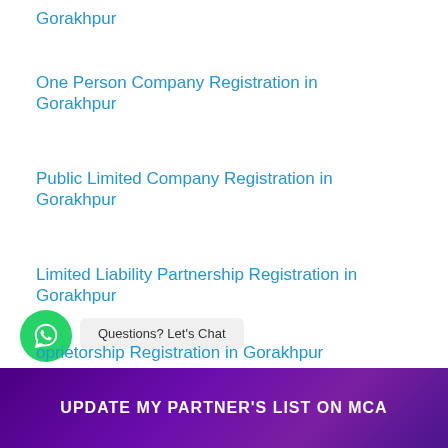Gorakhpur
One Person Company Registration in Gorakhpur
Public Limited Company Registration in Gorakhpur
Limited Liability Partnership Registration in Gorakhpur
oprietorship Registration in Gorakhpur
UPDATE MY PARTNER'S LIST ON MCA